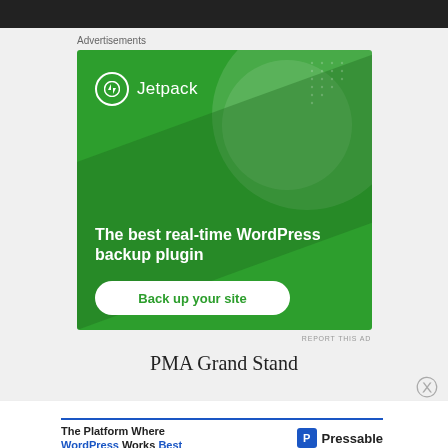[Figure (screenshot): Top black navigation bar of a website]
Advertisements
[Figure (illustration): Jetpack advertisement banner on green background. Shows Jetpack logo and text: The best real-time WordPress backup plugin, with a 'Back up your site' button.]
REPORT THIS AD
PMA Grand Stand
Advertisements
[Figure (screenshot): Pressable advertisement: The Platform Where WordPress Works Best, with Pressable logo on the right.]